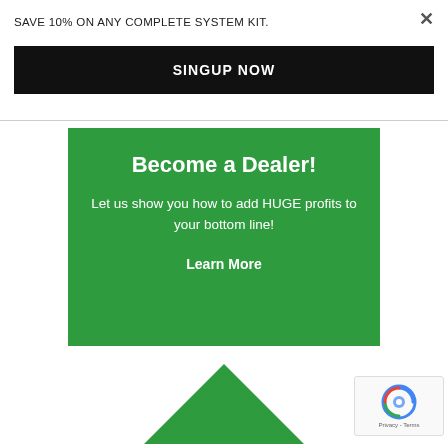SAVE 10% ON ANY COMPLETE SYSTEM KIT.
SINGUP NOW
Become a Dealer!
Let us show you how to add HUGE profits to your bottom line!
Learn More
[Figure (screenshot): reCAPTCHA widget with Privacy - Terms label]
[Figure (illustration): Green triangle/arrow shape partially visible at bottom of page]